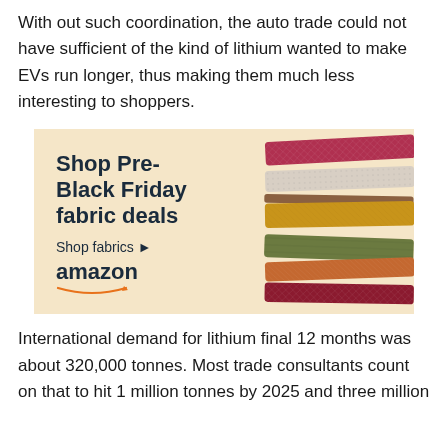With out such coordination, the auto trade could not have sufficient of the kind of lithium wanted to make EVs run longer, thus making them much less interesting to shoppers.
[Figure (illustration): Amazon advertisement for Pre-Black Friday fabric deals, showing colorful fabric swatches on a beige background with bold text 'Shop Pre-Black Friday fabric deals', 'Shop fabrics ▶', and the Amazon logo with smile.]
International demand for lithium final 12 months was about 320,000 tonnes. Most trade consultants count on that to hit 1 million tonnes by 2025 and three million